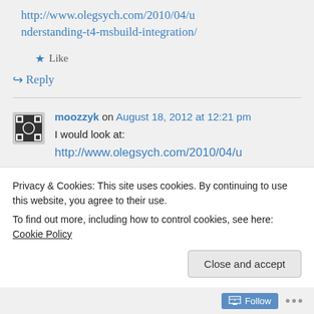http://www.olegsych.com/2010/04/understanding-t4-msbuild-integration/
Like
Reply
moozzyk on August 18, 2012 at 12:21 pm
I would look at:
http://www.olegsych.com/2010/04/u
Privacy & Cookies: This site uses cookies. By continuing to use this website, you agree to their use.
To find out more, including how to control cookies, see here: Cookie Policy
Close and accept
Follow